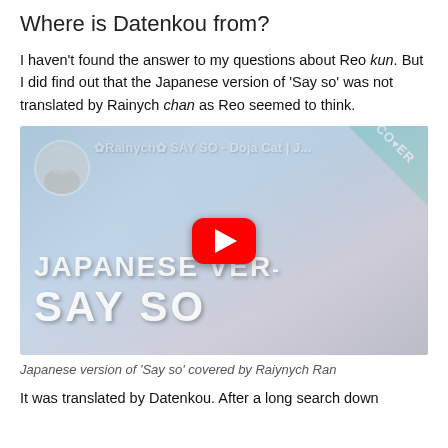Where is Datenkou from?
I haven't found the answer to my questions about Reo kun. But I did find out that the Japanese version of 'Say so' was not translated by Rainych chan as Reo seemed to think.
[Figure (screenshot): YouTube video thumbnail for 'Rainych SAY SO - Doja Cat | Japanese version cover' showing a young woman in a hijab in front of a microphone, with text 'JAPANESE VER' and 'SAY SO' overlaid, a red YouTube play button in the center, and a teal 'COVER' badge in the top right corner.]
Japanese version of 'Say so' covered by Raiynych Ran
It was translated by Datenkou. After a long search down